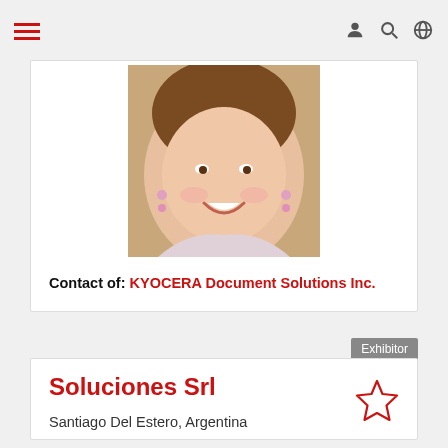[Figure (photo): Navigation bar with hamburger menu (red lines) on left, and user/search/globe icons on right, on gray background]
[Figure (photo): Close-up photo of a smiling woman with pink earrings]
Contact of: KYOCERA Document Solutions Inc.
Exhibitor
Soluciones Srl
Santiago Del Estero, Argentina